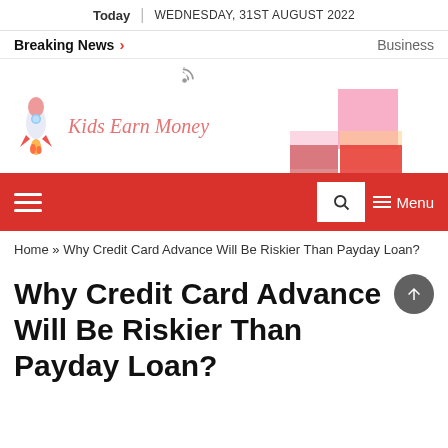Today | WEDNESDAY, 31ST AUGUST 2022
Breaking News > Business
[Figure (logo): Kids Earn Money logo with rocket illustration and brand name in italic script]
Home » Why Credit Card Advance Will Be Riskier Than Payday Loan?
Why Credit Card Advance Will Be Riskier Than Payday Loan?